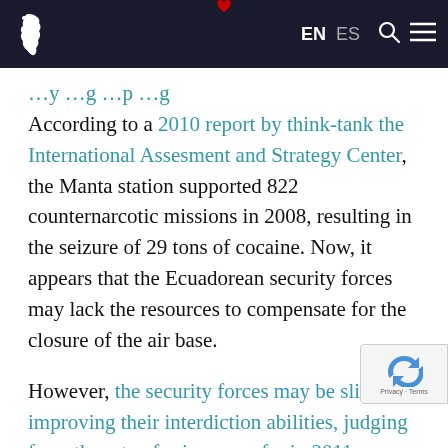EN ES [navigation header with logo and icons]
According to a 2010 report by think-tank the International Assesment and Strategy Center, the Manta station supported 822 counternarcotic missions in 2008, resulting in the seizure of 29 tons of cocaine. Now, it appears that the Ecuadorean security forces may lack the resources to compensate for the closure of the air base.
However, the security forces may be slightly improving their interdiction abilities, judging from the rate of seizures so far in 2011. During the first half of the year, the country seized tons of drugs, a ten percent increase from same period last year, according to Ecuadorean